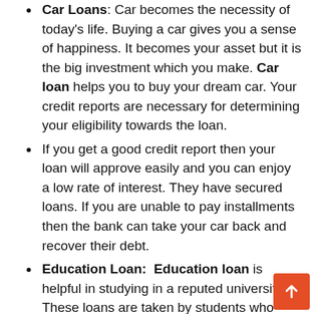Car Loans: Car becomes the necessity of today's life. Buying a car gives you a sense of happiness. It becomes your asset but it is the big investment which you make. Car loan helps you to buy your dream car. Your credit reports are necessary for determining your eligibility towards the loan.
If you get a good credit report then your loan will approve easily and you can enjoy a low rate of interest. They have secured loans. If you are unable to pay installments then the bank can take your car back and recover their debt.
Education Loan: Education loan is helpful in studying in a reputed university. These loans are taken by students who want to go abroad for studies. But they require financial support for taking admissions and bearing other expenses. For taking an education loan, you required to